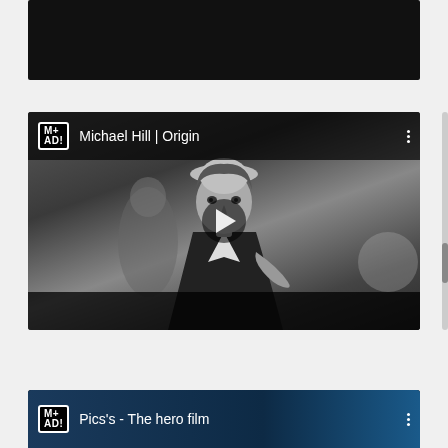[Figure (screenshot): Top portion of a YouTube-style video player, mostly black/cropped video thumbnail]
[Figure (screenshot): YouTube-style video player showing 'Michael Hill | Origin' with M+AD! logo. Black and white film still of a woman in a hat and dark dress. Play button overlay in center. Dark header and footer bars.]
[Figure (screenshot): Partially visible YouTube-style video player showing 'Pics's - The hero film' with M+AD! logo. Blue-toned header background.]